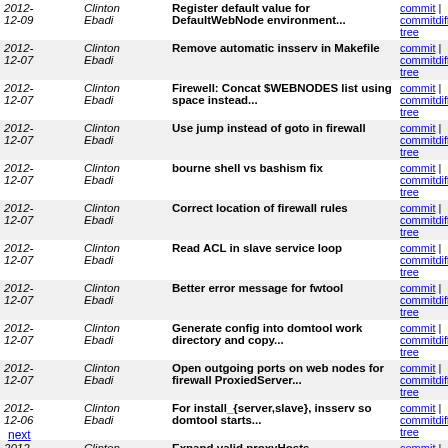| Date | Author | Message | Links |
| --- | --- | --- | --- |
| 2012-12-09 | Clinton Ebadi | Register default value for DefaultWebNode environment... | commit | commitdiff | tree |
| 2012-12-07 | Clinton Ebadi | Remove automatic insserv in Makefile | commit | commitdiff | tree |
| 2012-12-07 | Clinton Ebadi | Firewell: Concat $WEBNODES list using space instead... | commit | commitdiff | tree |
| 2012-12-07 | Clinton Ebadi | Use jump instead of goto in firewall | commit | commitdiff | tree |
| 2012-12-07 | Clinton Ebadi | bourne shell vs bashism fix | commit | commitdiff | tree |
| 2012-12-07 | Clinton Ebadi | Correct location of firewall rules | commit | commitdiff | tree |
| 2012-12-07 | Clinton Ebadi | Read ACL in slave service loop | commit | commitdiff | tree |
| 2012-12-07 | Clinton Ebadi | Better error message for fwtool | commit | commitdiff | tree |
| 2012-12-07 | Clinton Ebadi | Generate config into domtool work directory and copy... | commit | commitdiff | tree |
| 2012-12-07 | Clinton Ebadi | Open outgoing ports on web nodes for firewall ProxiedServer... | commit | commitdiff | tree |
| 2012-12-06 | Clinton Ebadi | For install_{server,slave}, insserv so domtool starts... | commit | commitdiff | tree |
| 2012-09-14 | Clinton Ebadi | Expand valid proxyHosts | commit | commitdiff | tree |
| 2012-09-14 | Clinton Ebadi | Fix firewall input rules, add ProxiedServer directive | commit | commitdiff | tree |
next